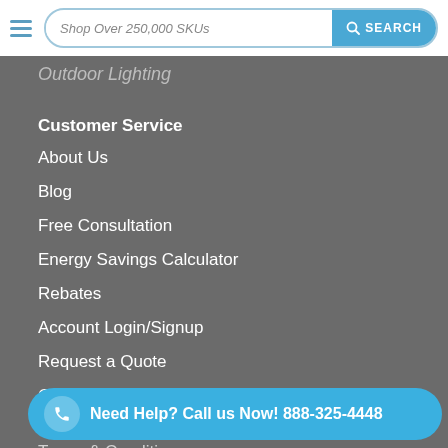Shop Over 250,000 SKUs | SEARCH
Outdoor Lighting
Customer Service
About Us
Blog
Free Consultation
Energy Savings Calculator
Rebates
Account Login/Signup
Request a Quote
Coupons
Light Bulb & Lighting FAQ
Terms & Conditions
Privacy Policy
Shipping & Returns
Need Help? Call us Now! 888-325-4448